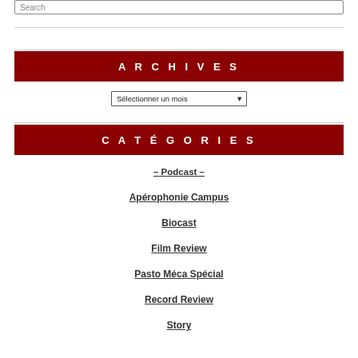Search
ARCHIVES
Sélectionner un mois
CATÉGORIES
– Podcast –
Apérophonie Campus
Biocast
Film Review
Pasto Méca Spécial
Record Review
Story